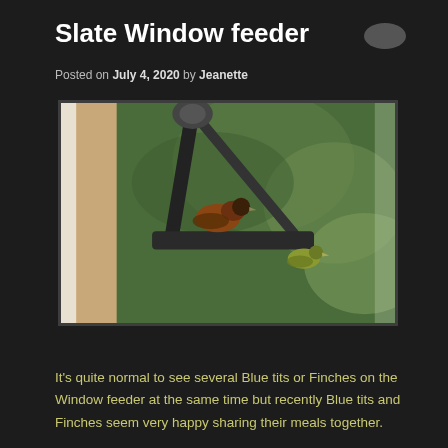Slate Window feeder
Posted on July 4, 2020 by Jeanette
[Figure (photo): Two birds perched on a triangular slate window bird feeder mounted on a window frame, with green foliage in the background. One bird appears to be a chaffinch (brown/orange) and another is a greenfinch (yellow-green), feeding together.]
It's quite normal to see several Blue tits or Finches on the Window feeder at the same time but recently Blue tits and Finches seem very happy sharing their meals together.